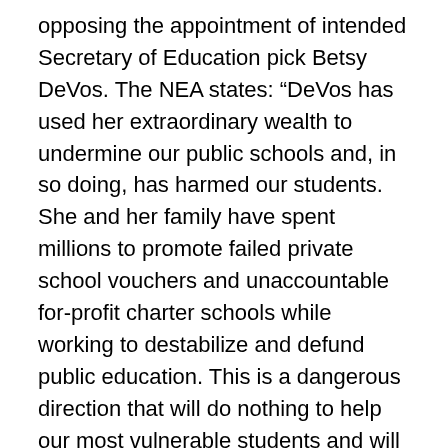opposing the appointment of intended Secretary of Education pick Betsy DeVos. The NEA states: “DeVos has used her extraordinary wealth to undermine our public schools and, in so doing, has harmed our students. She and her family have spent millions to promote failed private school vouchers and unaccountable for-profit charter schools while working to destabilize and defund public education. This is a dangerous direction that will do nothing to help our most vulnerable students and will exacerbate glaring opportunity gaps.”
Betsy DeVos is a Michigander, so the Michigan PTA adds this additional commentary “Over the past 25 years, Michigan’s Public Education has been slowly and intentionally dismantled and sold to the highest bidder. This has resulted in the creation of significant inequalities